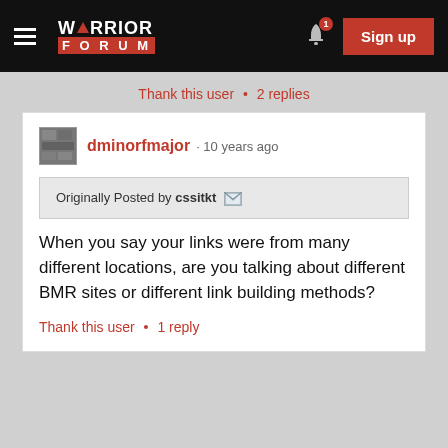Warrior Forum
Thank this user • 2 replies
dminorfmajor · 10 years ago
Originally Posted by cssitkt
When you say your links were from many different locations, are you talking about different BMR sites or different link building methods?
Thank this user • 1 reply